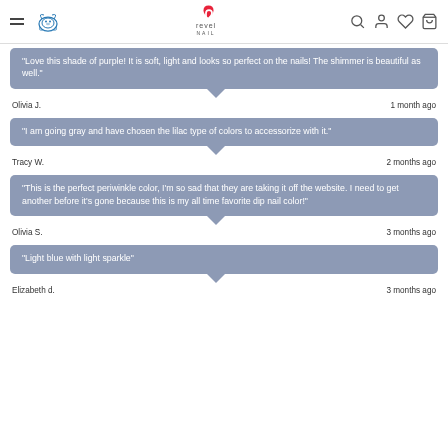Revel Nail website header with navigation icons
"Love this shade of purple! It is soft, light and looks so perfect on the nails! The shimmer is beautiful as well."
Olivia J.    1 month ago
"I am going gray and have chosen the lilac type of colors to accessorize with it."
Tracy W.    2 months ago
"This is the perfect periwinkle color, I'm so sad that they are taking it off the website. I need to get another before it's gone because this is my all time favorite dip nail color!"
Olivia S.    3 months ago
"Light blue with light sparkle"
Elizabeth d.    3 months ago